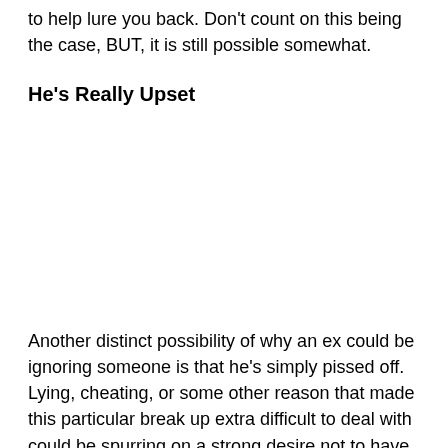to help lure you back. Don't count on this being the case, BUT, it is still possible somewhat.
He's Really Upset
Another distinct possibility of why an ex could be ignoring someone is that he's simply pissed off. Lying, cheating, or some other reason that made this particular break up extra difficult to deal with could be spurring on a strong desire not to have any communication within the near future.
If something really bad happened to cause the break up,